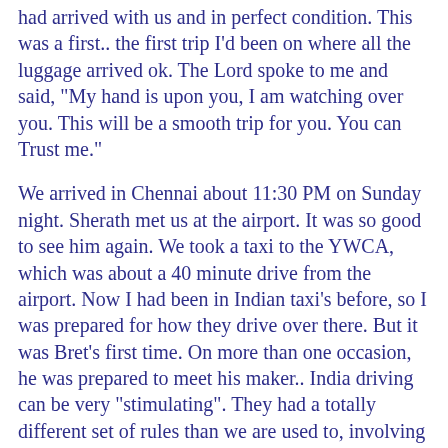had arrived with us and in perfect condition. This was a first.. the first trip I'd been on where all the luggage arrived ok. The Lord spoke to me and said, "My hand is upon you, I am watching over you. This will be a smooth trip for you. You can Trust me."
We arrived in Chennai about 11:30 PM on Sunday night. Sherath met us at the airport. It was so good to see him again. We took a taxi to the YWCA, which was about a 40 minute drive from the airport. Now I had been in Indian taxi's before, so I was prepared for how they drive over there. But it was Bret's first time. On more than one occasion, he was prepared to meet his maker.. India driving can be very "stimulating". They had a totally different set of rules than we are used to, involving a great deal of "near misses" and a lot of horn honking. But we arrived safely, and checked into our rooms. Our trip out was far from over, we still had a 13 hour train ride to Kovvur and then a 2 hour taxi ride to the Razole area. But our train did not leave until 6:00 PM Monday, so we had a bit of time to shop for native clothing in Chennai as well as take a nap that afternoon.